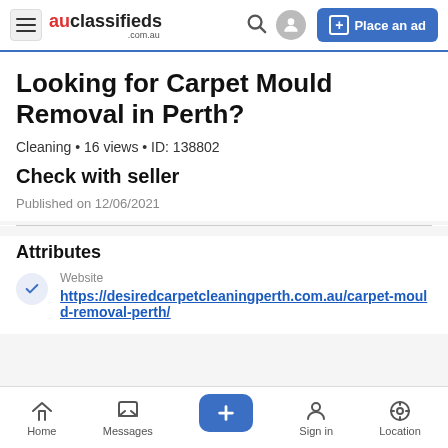auclassifieds .com.au — Place an ad
Looking for Carpet Mould Removal in Perth?
Cleaning • 16 views • ID: 138802
Check with seller
Published on 12/06/2021
Attributes
Website
https://desiredcarpetcleaningperth.com.au/carpet-mould-removal-perth/
Home  Messages  +  Sign in  Location